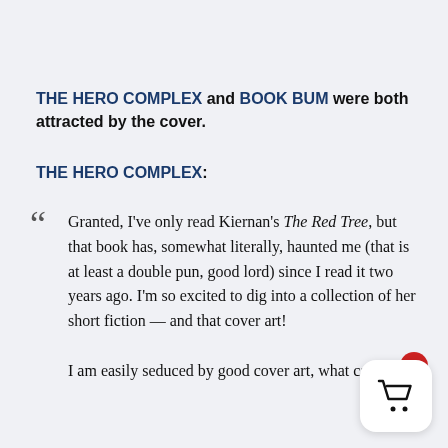THE HERO COMPLEX and BOOK BUM were both attracted by the cover.
THE HERO COMPLEX:
Granted, I've only read Kiernan's The Red Tree, but that book has, somewhat literally, haunted me (that is at least a double pun, good lord) since I read it two years ago. I'm so excited to dig into a collection of her short fiction — and that cover art!

I am easily seduced by good cover art, what can I say?